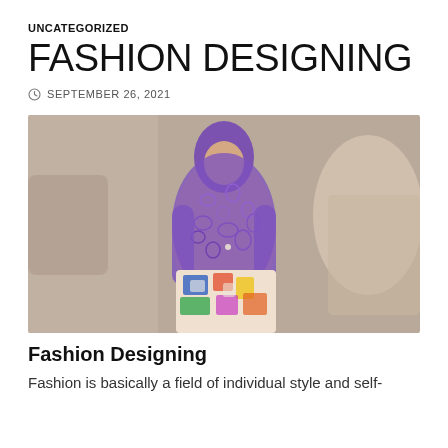UNCATEGORIZED
FASHION DESIGNING
SEPTEMBER 26, 2021
[Figure (photo): A fashion model wearing an elaborate purple lace bodysuit covering entire body and head, with a colorful patterned skirt wrapped at the waist, on a runway with blurred earthy background.]
Fashion Designing
Fashion is basically a field of individual style and self-